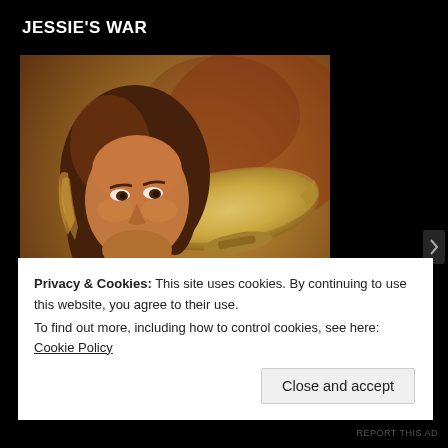JESSIE'S WAR
[Figure (illustration): Book cover illustration showing a Native American woman in the foreground with a beaded necklace and auburn hair, a large dirigible/zeppelin airship in the middle background, and a man in a wide-brimmed hat in the lower foreground. The image has warm brown and golden tones.]
Privacy & Cookies: This site uses cookies. By continuing to use this website, you agree to their use.
To find out more, including how to control cookies, see here: Cookie Policy
Close and accept